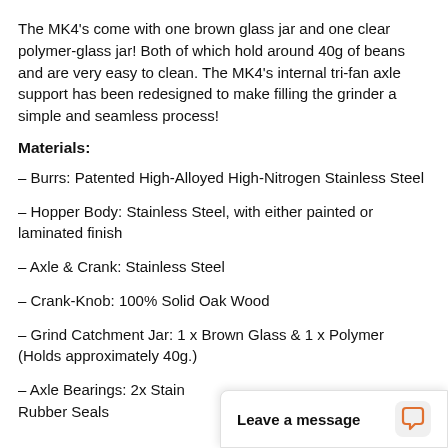The MK4's come with one brown glass jar and one clear polymer-glass jar! Both of which hold around 40g of beans and are very easy to clean. The MK4's internal tri-fan axle support has been redesigned to make filling the grinder a simple and seamless process!
Materials:
– Burrs: Patented High-Alloyed High-Nitrogen Stainless Steel
– Hopper Body: Stainless Steel, with either painted or laminated finish
– Axle & Crank: Stainless Steel
– Crank-Knob: 100% Solid Oak Wood
– Grind Catchment Jar: 1 x Brown Glass & 1 x Polymer (Holds approximately 40g.)
– Axle Bearings: 2x Stainless Steel Bearings with Rubber Seals
Leave a message